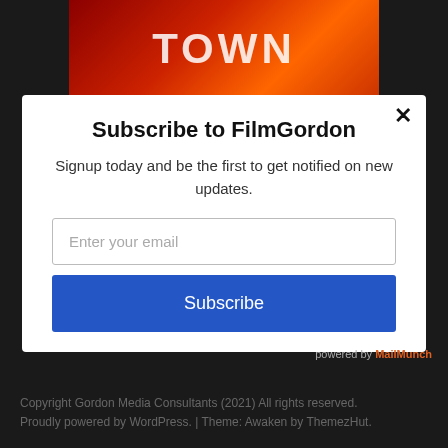[Figure (photo): Partial image showing stylized text 'TOWN' on a red/orange gradient background]
Subscribe to FilmGordon
Signup today and be the first to get notified on new updates.
Enter your email
Subscribe
powered by MailMunch
Copyright Gordon Media Consultants (2021) All rights reserved. Proudly powered by WordPress. | Theme: Awaken by ThemezHut.